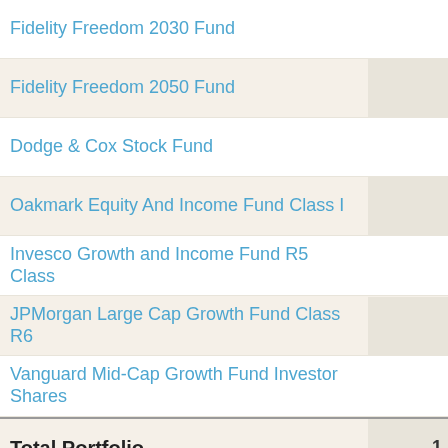| Fund Name | Value |
| --- | --- |
| Fidelity Freedom 2030 Fund |  |
| Fidelity Freedom 2050 Fund |  |
| Dodge & Cox Stock Fund |  |
| Oakmark Equity And Income Fund Class I |  |
| Invesco Growth and Income Fund R5 Class |  |
| JPMorgan Large Cap Growth Fund Class R6 |  |
| Vanguard Mid-Cap Growth Fund Investor Shares |  |
| Total Portfolio | 1 |
Please wait while we calcula... Adecco, Inc. Sp...
Home  Log In  Investment Research  About Us  Blog  Contact  ©2013 Kivalia, Inc.  Privacy Policy  Terms of Services & Disclaimer